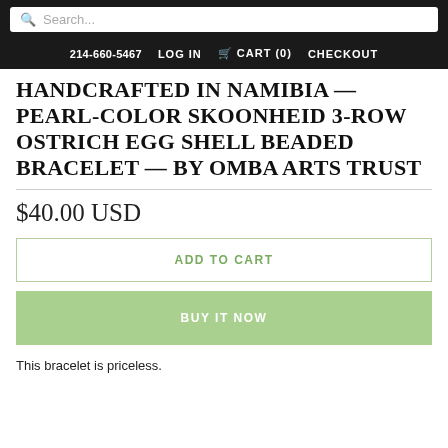Search... | 214-660-5467 | LOG IN | CART (0) | CHECKOUT
HANDCRAFTED IN NAMIBIA — PEARL-COLOR SKOONHEID 3-ROW OSTRICH EGG SHELL BEADED BRACELET — BY OMBA ARTS TRUST
$40.00 USD
ADD TO CART
BUY IT NOW
This bracelet is priceless.